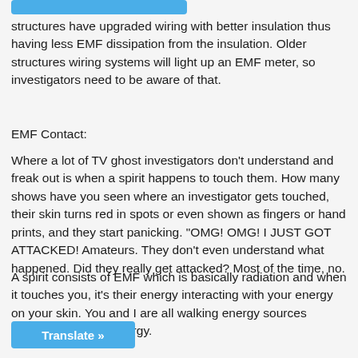structures have upgraded wiring with better insulation thus having less EMF dissipation from the insulation. Older structures wiring systems will light up an EMF meter, so investigators need to be aware of that.
EMF Contact:
Where a lot of TV ghost investigators don’t understand and freak out is when a spirit happens to touch them. How many shows have you seen where an investigator gets touched, their skin turns red in spots or even shown as fingers or hand prints, and they start panicking. “OMG! OMG! I JUST GOT ATTACKED! Amateurs. They don’t even understand what happened. Did they really get attacked? Most of the time, no.
A spirit consists of EMF which is basically radiation and when it touches you, it’s their energy interacting with your energy on your skin. You and I are all walking energy sources o tore energy.